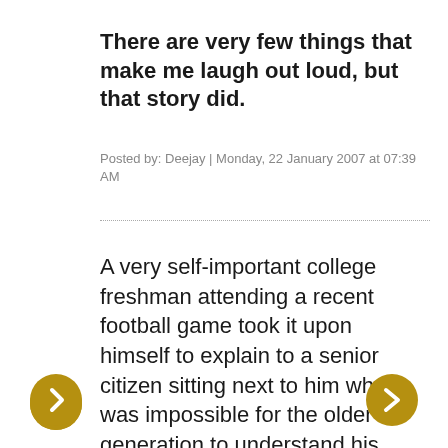There are very few things that make me laugh out loud, but that story did.
Posted by: Deejay | Monday, 22 January 2007 at 07:39 AM
A very self-important college freshman attending a recent football game took it upon himself to explain to a senior citizen sitting next to him why it was impossible for the older generation to understand his generation.